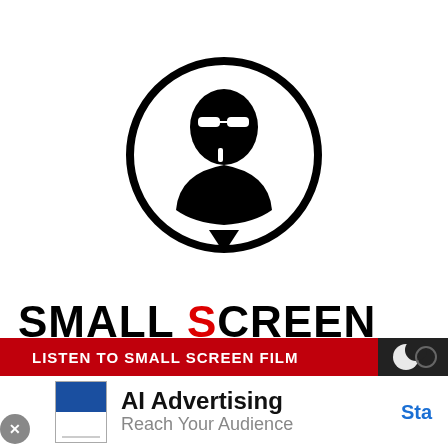[Figure (logo): Circular logo with black silhouette of a man's face with sunglasses making a shushing gesture, thick black circle border on white background]
SMALL SCREEN STORIES
[Figure (screenshot): Ad banner: Red bar with white text 'LISTEN TO SMALL SCREEN FILM...' with dark moon icon overlay, followed by white ad area showing 'AI Advertising / Reach Your Audience' with blue 'Sta' button partially visible, close button on left]